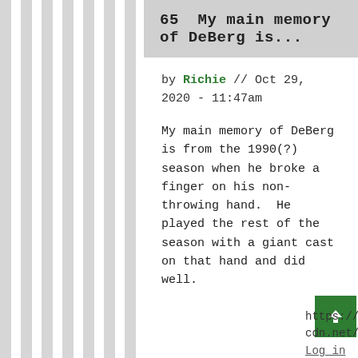65  My main memory of DeBerg is...
by Richie // Oct 29, 2020 - 11:47am
My main memory of DeBerg is from the 1990(?) season when he broke a finger on his non-throwing hand.  He played the rest of the season with a giant cast on that hand and did well.
https://us.v-cdn.net/5018289/uploads/editor/
Log in or register to post